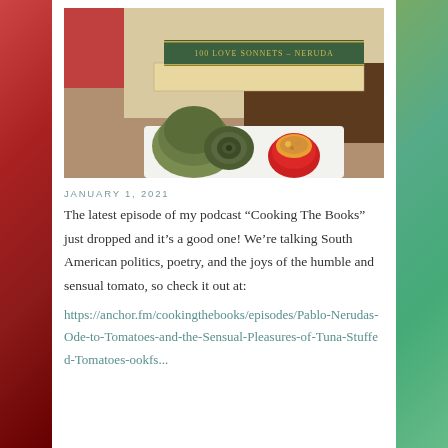[Figure (photo): Photo showing a cooked artichoke and a stuffed red tomato on a white plate, with a stack of books in the background including '100 Love Sonnets - Neruda']
JANUARY 1, 2021
The latest episode of my podcast “Cooking The Books” just dropped and it’s a good one! We’re talking South American politics, poetry, and the joys of the humble and sensual tomato, so check it out at:
https://anchor.fm/cookingthebooks/episodes/Pablo-Nerudas-Ode-to-Tomatoes-and-the-Sensual-Pleasures-of-Tuna-Stuffed-Tomatoes-ookfs...